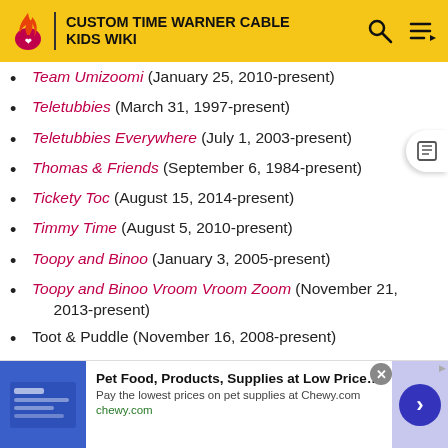CUSTOM TIME WARNER CABLE KIDS WIKI
Team Umizoomi (January 25, 2010-present)
Teletubbies (March 31, 1997-present)
Teletubbies Everywhere (July 1, 2003-present)
Thomas & Friends (September 6, 1984-present)
Tickety Toc (August 15, 2014-present)
Timmy Time (August 5, 2010-present)
Toopy and Binoo (January 3, 2005-present)
Toopy and Binoo Vroom Vroom Zoom (November 21, 2013-present)
Toot & Puddle (November 16, 2008-present)
Tree Fu Tom (April 22, 2013-present)
The New Adventures of... (partially visible)
Ad: Pet Food, Products, Supplies at Low Prices - Pay the lowest prices on pet supplies at Chewy.com | chewy.com